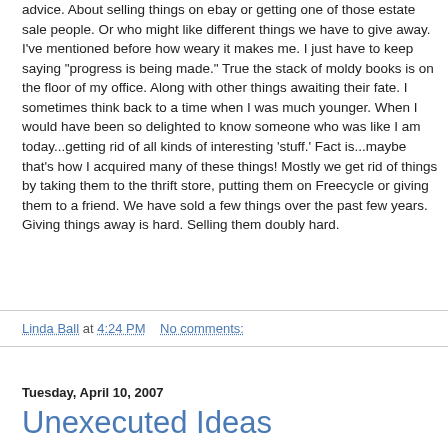advice. About selling things on ebay or getting one of those estate sale people. Or who might like different things we have to give away. I've mentioned before how weary it makes me. I just have to keep saying "progress is being made." True the stack of moldy books is on the floor of my office. Along with other things awaiting their fate. I sometimes think back to a time when I was much younger. When I would have been so delighted to know someone who was like I am today...getting rid of all kinds of interesting 'stuff.' Fact is...maybe that's how I acquired many of these things! Mostly we get rid of things by taking them to the thrift store, putting them on Freecycle or giving them to a friend. We have sold a few things over the past few years. Giving things away is hard. Selling them doubly hard.
Linda Ball at 4:24 PM   No comments:
Tuesday, April 10, 2007
Unexecuted Ideas